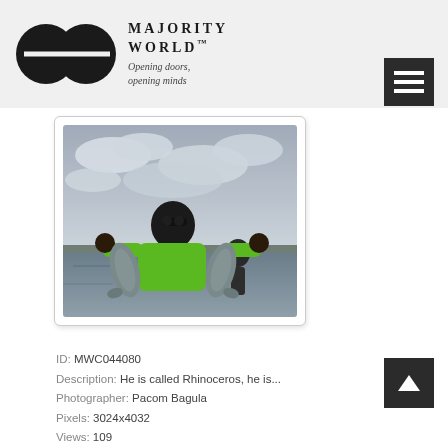MAJORITY WORLD™ — Opening doors, opening minds
[Figure (photo): A person in a bright green jacket holds up two large fish with thumbs up, standing near a river. Another person stands in the background. Overcast sky.]
ID: MWC044080
Description: He is called Rhinoceros, he is...
Photographer: Pacom Bagula
Pixels: 3024x4032
Views: 109
Filesize: 8.65MB
Filename: MWC044080.jpg